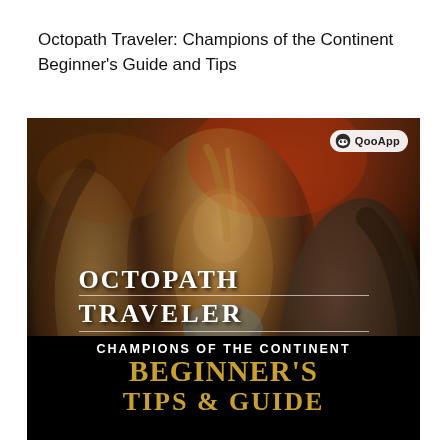Octopath Traveler: Champions of the Continent Beginner's Guide and Tips
[Figure (illustration): Game promotional artwork for Octopath Traveler: Champions of the Continent, showing three dramatic fantasy characters in a dark painterly style. Center figure holds weapons aloft with fierce expression, flanked by two other characters. The bottom portion shows the game title 'OCTOPATH TRAVELER' in large white serif text with Japanese subtitle '大陸の覇者', below which is black bar with 'CHAMPIONS OF THE CONTINENT' in white and 'BEGINNER'S TIPS & GUIDE' in gold. QooApp logo appears in upper right of image.]